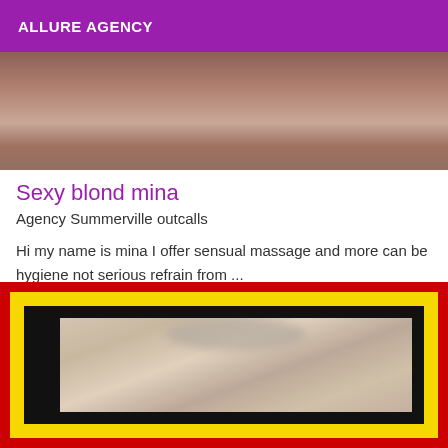ALLURE AGENCY
[Figure (photo): Partial photo of a person, cropped at top, showing upper body area with blurred/obscured content]
Sexy blond mina
Agency Summerville outcalls
Hi my name is mina I offer sensual massage and more can be hygiene not serious refrain from ...
[Figure (photo): Photo framed with red, yellow, and black decorative borders showing a person, partially blurred]